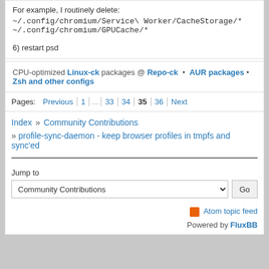For example, I routinely delete:
~/.config/chromium/Service\ Worker/CacheStorage/*
~/.config/chromium/GPUCache/*
6) restart psd
CPU-optimized Linux-ck packages @ Repo-ck • AUR packages • Zsh and other configs
Pages: Previous | 1 | ... | 33 | 34 | 35 | 36 | Next
Index » Community Contributions » profile-sync-daemon - keep browser profiles in tmpfs and sync'ed
Jump to
Community Contributions
Atom topic feed
Powered by FluxBB